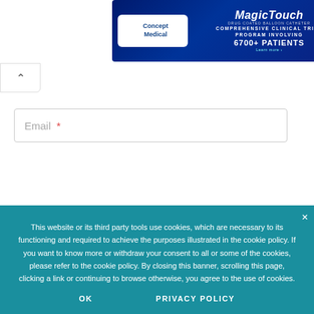[Figure (illustration): Advertisement banner for Concept Medical MagicTouch device. Dark blue background with white Concept Medical logo on left, MagicTouch branding and text 'COMPREHENSIVE CLINICAL TRIAL PROGRAM INVOLVING 6700+ PATIENTS' on right. CE1434 mark visible.]
Email *
This website or its third party tools use cookies, which are necessary to its functioning and required to achieve the purposes illustrated in the cookie policy. If you want to know more or withdraw your consent to all or some of the cookies, please refer to the cookie policy. By closing this banner, scrolling this page, clicking a link or continuing to browse otherwise, you agree to the use of cookies.
OK    PRIVACY POLICY